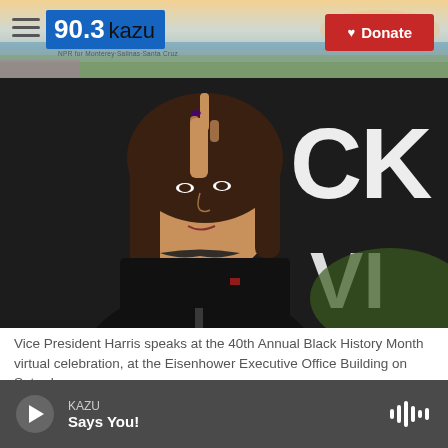[Figure (screenshot): KAZU 90.3 radio station website header with logo and Donate button over a coastal background image]
[Figure (photo): Vice President Kamala Harris speaking, wearing black jacket and pearl necklace, raising one finger, with partial text 'CK' and 'VI' visible in the background]
Vice President Harris speaks at the 40th Annual Black History Month virtual celebration, at the Eisenhower Executive Office Building on Saturday.
[Figure (screenshot): Audio player bar showing KAZU station playing 'Says You!' with play button and waveform icon]